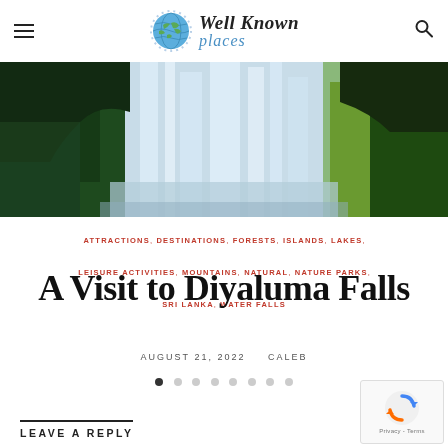Well Known places
[Figure (photo): Waterfall surrounded by green trees and foliage — Diyaluma Falls, Sri Lanka]
ATTRACTIONS, DESTINATIONS, FORESTS, ISLANDS, LAKES, LEISURE ACTIVITIES, MOUNTAINS, NATURAL, NATURE PARKS, SRI LANKA, WATER FALLS
A Visit to Diyaluma Falls
AUGUST 21, 2022   CALEB
LEAVE A REPLY